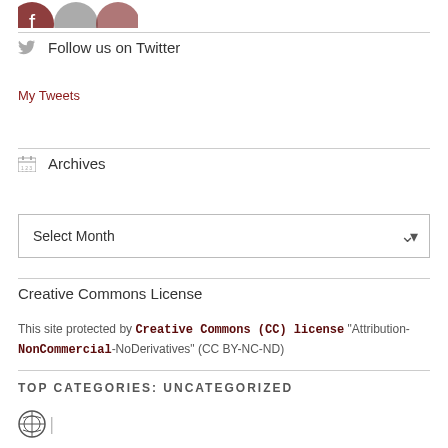[Figure (logo): Partial social media icons (Facebook, Twitter/other) partially visible at top of page]
Follow us on Twitter
My Tweets
Archives
Select Month
Creative Commons License
This site protected by Creative Commons (CC) license "Attribution-NonCommercial-NoDerivatives" (CC BY-NC-ND)
TOP CATEGORIES: UNCATEGORIZED
[Figure (logo): WordPress logo icon at bottom left]